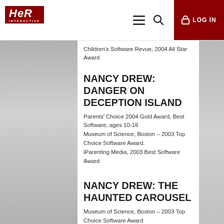HeR Interactive — LOG IN
Children's Software Revue, 2004 All Star Award
NANCY DREW: DANGER ON DECEPTION ISLAND
Parents' Choice 2004 Gold Award, Best Software, ages 10-18
Museum of Science, Boston – 2003 Top Choice Software Award.
iParenting Media, 2003 Best Software Award
NANCY DREW: THE HAUNTED CAROUSEL
Museum of Science, Boston – 2003 Top Choice Software Award
Parents' Choice 2003 Gold Award, Best Software, ages 10-18
iParenting Media, 2003 Best Software Award